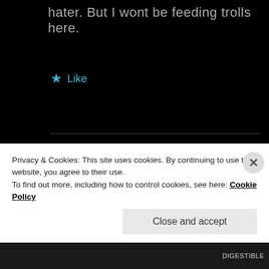hater. But I wont be feeding trolls here.
★ Like
[Figure (illustration): Circular avatar with geometric teal/white quilt-like pattern]
HENRIQUE
February 27, 2013 at 11:07 AM
@google-e8791f01098515c8c4fbc0c848b3420e:disqus Learn your native language first before
Privacy & Cookies: This site uses cookies. By continuing to use this website, you agree to their use. To find out more, including how to control cookies, see here: Cookie Policy
Close and accept